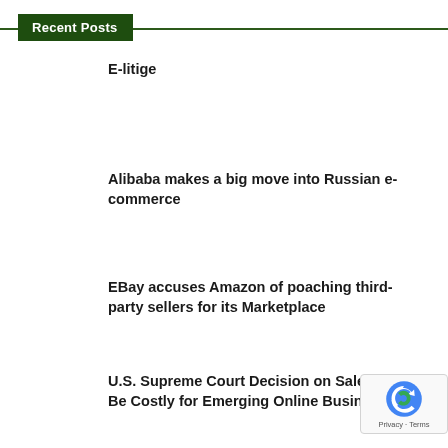Recent Posts
E-litige
Alibaba makes a big move into Russian e-commerce
EBay accuses Amazon of poaching third-party sellers for its Marketplace
U.S. Supreme Court Decision on Sale Could Be Costly for Emerging Online Businesses